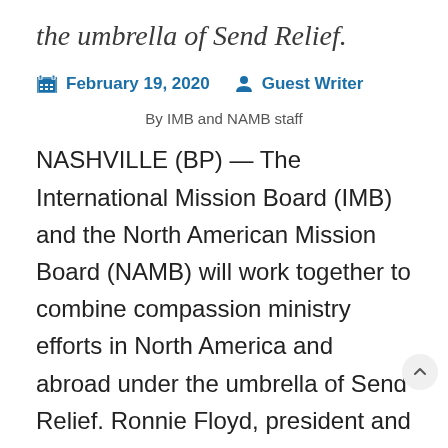the umbrella of Send Relief.
February 19, 2020   Guest Writer
By IMB and NAMB staff
NASHVILLE (BP) — The International Mission Board (IMB) and the North American Mission Board (NAMB) will work together to combine compassion ministry efforts in North America and abroad under the umbrella of Send Relief. Ronnie Floyd, president and CEO of the Southern Baptist Convention Executive Committee (EC)